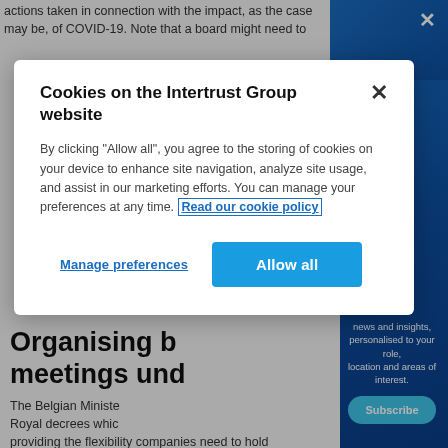actions taken in connection with the impact, as the case may be, of COVID-19. Note that a board might need to
[Figure (screenshot): Cookie consent modal dialog on the Intertrust Group website with title, body text about cookie policy, a 'Read our cookie policy' link, 'Manage preferences' and 'Allow all' buttons]
news and insights, personalised to your role, location and areas of interest.
Subscribe
Organising board meetings und
The Belgian Ministe Royal decrees whic providing the flexibility companies need to hold shareholder board meetings